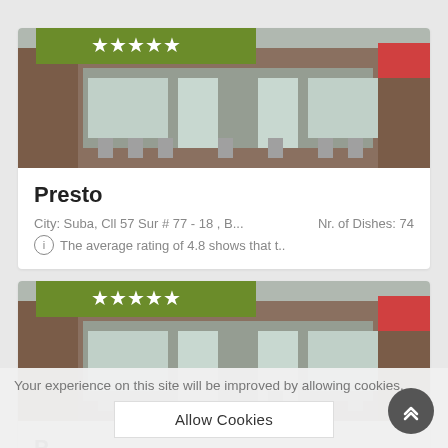[Figure (photo): Photo of Presto restaurant exterior with green five-star rating badge overlay at top]
Presto
City: Suba, Cll 57 Sur # 77 - 18 , B...    Nr. of Dishes: 74
The average rating of 4.8 shows that t..
[Figure (photo): Photo of Presto restaurant exterior (second card) with green five-star rating badge overlay at top]
P...
Your experience on this site will be improved by allowing cookies.
Allow Cookies